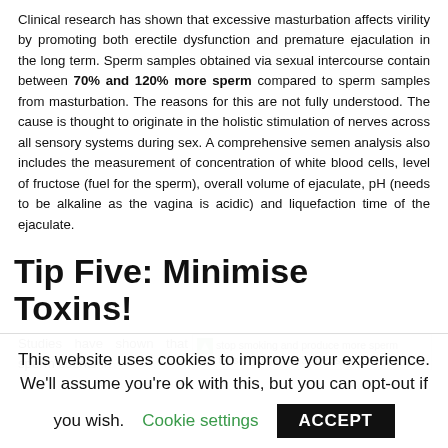Clinical research has shown that excessive masturbation affects virility by promoting both erectile dysfunction and premature ejaculation in the long term. Sperm samples obtained via sexual intercourse contain between 70% and 120% more sperm compared to sperm samples from masturbation. The reasons for this are not fully understood. The cause is thought to originate in the holistic stimulation of nerves across all sensory systems during sex. A comprehensive semen analysis also includes the measurement of concentration of white blood cells, level of fructose (fuel for the sperm), overall volume of ejaculate, pH (needs to be alkaline as the vagina is acidic) and liquefaction time of the ejaculate.
Tip Five: Minimise Toxins!
Studies have shown that sperm counts in
[Figure (photo): stop smoking and produce more sperm with these 10 tips and 3 videos]
This website uses cookies to improve your experience. We'll assume you're ok with this, but you can opt-out if you wish. Cookie settings ACCEPT